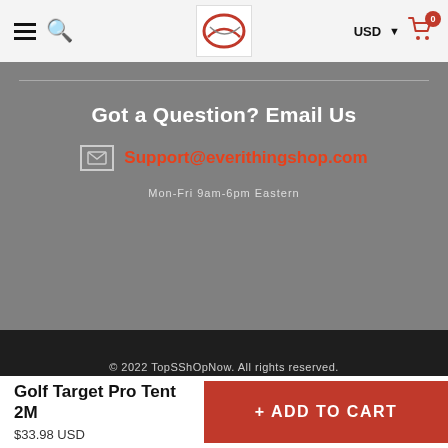≡ 🔍  [Logo]  USD ▾  🛒 0
Got a Question? Email Us
Support@everithingshop.com
Mon-Fri 9am-6pm Eastern
© 2022 TopSShOpNow. All rights reserved.
Twitter Pinterest Instagram Google+ Tumblr Vimeo
Golf Target Pro Tent 2M
$33.98 USD
+ ADD TO CART